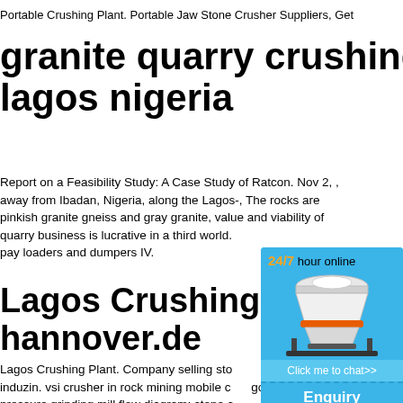Portable Crushing Plant. Portable Jaw Stone Crusher Suppliers, Get
granite quarry crushing plant in lagos nigeria
Report on a Feasibility Study: A Case Study of Ratcon. Nov 2, , away from Ibadan, Nigeria, along the Lagos-, The rocks are pinkish granite gneiss and gray granite, value and viability of quarry business is lucrative in a third world. pay loaders and dumpers IV.
Lagos Crushing Plant - hannover.de
Lagos Crushing Plant. Company selling sto nigeria lagos nigeria,stone crusher supplie a induzin. vsi crusher in rock mining mobile c gold wash plant manufacturer lagos state m pressure grinding mill flow diagram; stone c solution germany machine germany in paki production line; ball mill screening ...
[Figure (infographic): Sidebar widget with blue background showing a cone crusher machine image, '24/7 hour online' text in orange/black, 'Click me to chat>>' button, 'Enquiry' section with dashed border, and 'limingjlmofen' username text.]